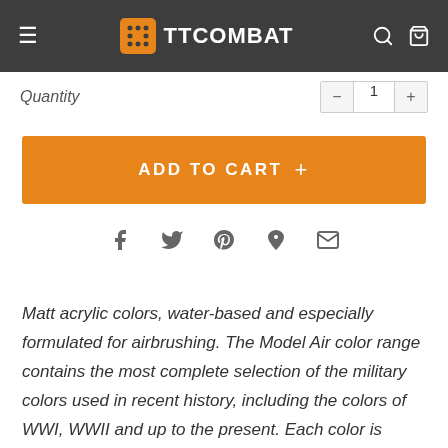TTCombat
Quantity
ADD TO CART +
[Figure (infographic): Social sharing icons: Facebook, Twitter, Pinterest, Fancy, Email]
Matt acrylic colors, water-based and especially formulated for airbrushing. The Model Air color range contains the most complete selection of the military colors used in recent history, including the colors of WWI, WWII and up to the present. Each color is based on extensive research by our experts of the existing and previous military references so as